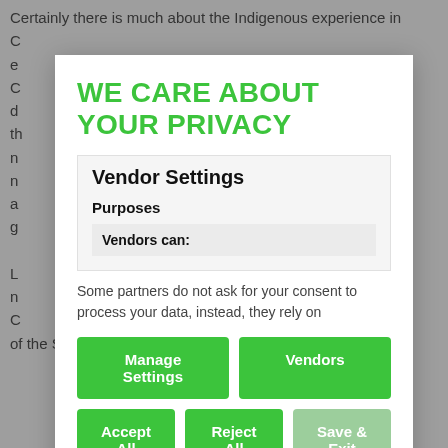Certainly there is much about the Indigenous experience in C... e... C... d... th... n... n... a... g... L... n... C... of the Sinclair Commission is in fact to keep the wounds
WE CARE ABOUT YOUR PRIVACY
Vendor Settings
Purposes
Vendors can:
Some partners do not ask for your consent to process your data, instead, they rely on
Manage Settings
Vendors
Accept All
Reject All
Save & Exit